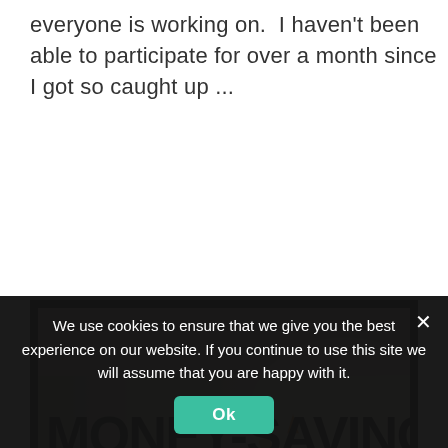everyone is working on.  I haven't been able to participate for over a month since I got so caught up ...
[Figure (illustration): Money-Saving Monday banner image with large bold black text on a tan/beige background with a roll of US dollar bills in the foreground]
We use cookies to ensure that we give you the best experience on our website. If you continue to use this site we will assume that you are happy with it.